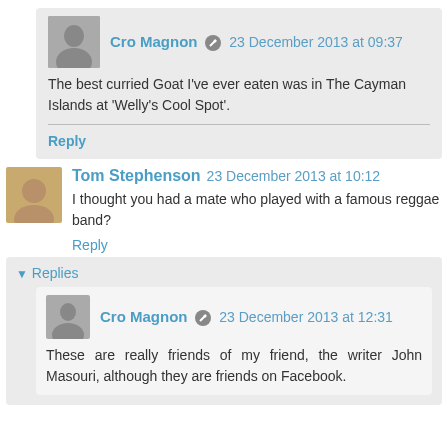Cro Magnon · 23 December 2013 at 09:37
The best curried Goat I've ever eaten was in The Cayman Islands at 'Welly's Cool Spot'.
Reply
Tom Stephenson 23 December 2013 at 10:12
I thought you had a mate who played with a famous reggae band?
Reply
▾ Replies
Cro Magnon · 23 December 2013 at 12:31
These are really friends of my friend, the writer John Masouri, although they are friends on Facebook.